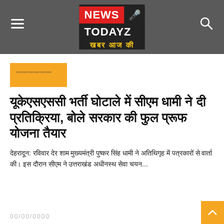[Figure (logo): NEWS TODAYZ logo with red NEWS block, black TODAYZ block, microphone icon, and yellow Hindi tagline 'खबर आज की' on dark grey header background]
[Figure (other): Orange/yellow category tag rectangle with Hindi text]
यूकेएसएससी भर्ती घोटाले में सीएम धामी ने दी प्रतिक्रिया, बोले सरकार की फुल प्रूफ योजना तैयार
देहरादून: रविवार देर शाम मुख्यमंत्री पुष्कर सिंह धामी ने अतिथिगृह में पत्रकारों से वार्ता की। इस दौरान सीएम ने उत्तराखंड अधीनस्थ सेवा चयन...